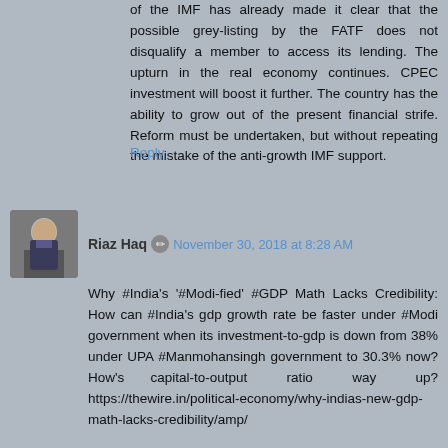of the IMF has already made it clear that the possible grey-listing by the FATF does not disqualify a member to access its lending. The upturn in the real economy continues. CPEC investment will boost it further. The country has the ability to grow out of the present financial strife. Reform must be undertaken, but without repeating the mistake of the anti-growth IMF support.
Reply
Riaz Haq
November 30, 2018 at 8:28 AM
Why #India's '#Modi-fied' #GDP Math Lacks Credibility: How can #India's gdp growth rate be faster under #Modi government when its investment-to-gdp is down from 38% under UPA #Manmohansingh government to 30.3% now? How's capital-to-output ratio way up? https://thewire.in/political-economy/why-indias-new-gdp-math-lacks-credibility/amp/
India's back-series GDP (gross domestic product) data, released by the NITI Aayog just four months before the 2019 general elections, turns the basic laws of